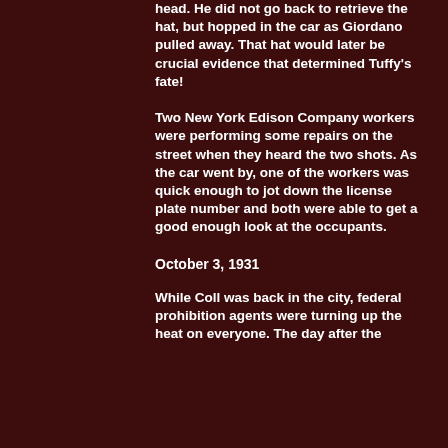head. He did not go back to retrieve the hat, but hopped in the car as Giordano pulled away. That hat would later be crucial evidence that determined Tuffy's fate!
Two New York Edison Company workers were performing some repairs on the street when they heard the two shots. As the car went by, one of the workers was quick enough to jot down the license plate number and both were able to get a good enough look at the occupants.
October 3, 1931
While Coll was back in the city, federal prohibition agents were turning up the heat on everyone. The day after the